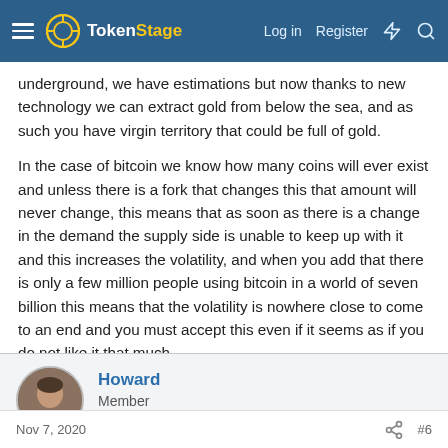TokenStage — Log in | Register
underground, we have estimations but now thanks to new technology we can extract gold from below the sea, and as such you have virgin territory that could be full of gold.

In the case of bitcoin we know how many coins will ever exist and unless there is a fork that changes this that amount will never change, this means that as soon as there is a change in the demand the supply side is unable to keep up with it and this increases the volatility, and when you add that there is only a few million people using bitcoin in a world of seven billion this means that the volatility is nowhere close to come to an end and you must accept this even if it seems as if you do not like it that much.
Howard
Member
Nov 7, 2020  #6